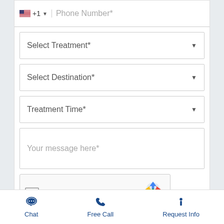[Figure (screenshot): Phone number input field with US flag and +1 country code, placeholder 'Phone Number*']
[Figure (screenshot): Dropdown field labeled 'Select Treatment*' with down caret]
[Figure (screenshot): Dropdown field labeled 'Select Destination*' with down caret]
[Figure (screenshot): Dropdown field labeled 'Treatment Time*' with down caret]
[Figure (screenshot): Textarea input with placeholder 'Your message here*']
[Figure (screenshot): reCAPTCHA checkbox widget with 'I'm not a robot' text and Google reCAPTCHA logo]
[Figure (screenshot): Submit Request button in dark navy blue]
Chat   Free Call   Request Info